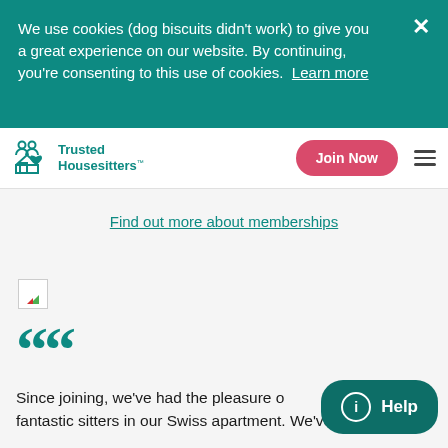We use cookies (dog biscuits didn't work) to give you a great experience on our website. By continuing, you're consenting to this use of cookies.  Learn more
Trusted Housesitters™ — Join Now — Menu
Find out more about memberships
[Figure (photo): Broken/loading image thumbnail]
““
Since joining, we've had the pleasure of fantastic sitters in our Swiss apartment. We've had